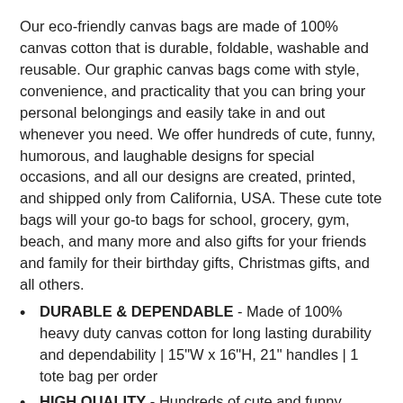Our eco-friendly canvas bags are made of 100% canvas cotton that is durable, foldable, washable and reusable. Our graphic canvas bags come with style, convenience, and practicality that you can bring your personal belongings and easily take in and out whenever you need. We offer hundreds of cute, funny, humorous, and laughable designs for special occasions, and all our designs are created, printed, and shipped only from California, USA. These cute tote bags will your go-to bags for school, grocery, gym, beach, and many more and also gifts for your friends and family for their birthday gifts, Christmas gifts, and all others.
DURABLE & DEPENDABLE - Made of 100% heavy duty canvas cotton for long lasting durability and dependability | 15"W x 16"H, 21" handles | 1 tote bag per order
HIGH QUALITY - Hundreds of cute and funny designs are printed with eco-friendly water base printing ink that ensures safety and high quality | Reusable and washable eco-friendly canvas tote bag | Design printed on one side only